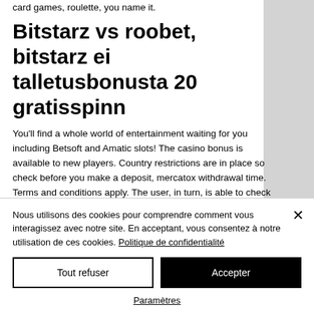card games, roulette, you name it.
Bitstarz vs roobet, bitstarz ei talletusbonusta 20 gratisspinn
You'll find a whole world of entertainment waiting for you including Betsoft and Amatic slots! The casino bonus is available to new players. Country restrictions are in place so check before you make a deposit, mercatox withdrawal time. Terms and conditions apply. The user, in turn, is able to check out...
Nous utilisons des cookies pour comprendre comment vous interagissez avec notre site. En acceptant, vous consentez à notre utilisation de ces cookies. Politique de confidentialité
Tout refuser
Accepter
Paramètres